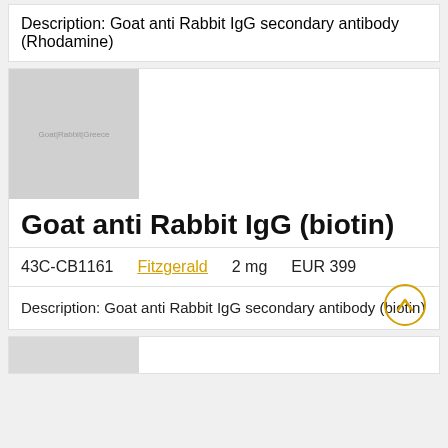Description: Goat anti Rabbit IgG secondary antibody (Rhodamine)
[Figure (photo): Placeholder product image showing Goat|Rabbit|Greece text on grey background]
Goat anti Rabbit IgG (biotin)
43C-CB1161   Fitzgerald   2 mg   EUR 399
Description: Goat anti Rabbit IgG secondary antibody (biotin)